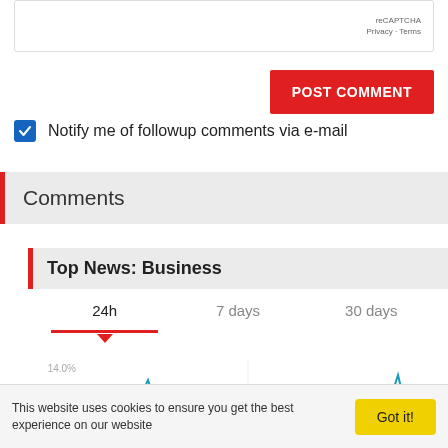[Figure (screenshot): reCAPTCHA widget box with Privacy and Terms links]
POST COMMENT
Notify me of followup comments via e-mail
Comments
Top News: Business
24h   7 days   30 days
[Figure (line-chart): Partial line chart showing percentage values including 14.0% and 12.0% on y-axis with teal/blue spikes]
This website uses cookies to ensure you get the best experience on our website
Got it!